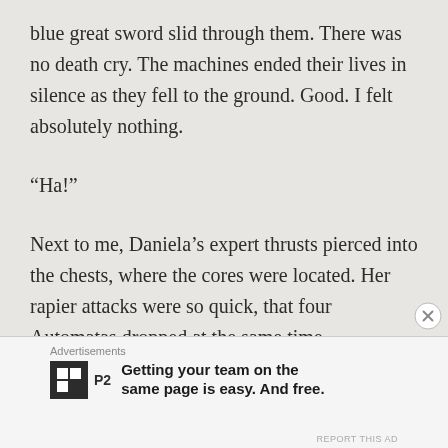blue great sword slid through them. There was no death cry. The machines ended their lives in silence as they fell to the ground. Good. I felt absolutely nothing.
“Ha!”
Next to me, Daniela’s expert thrusts pierced into the chests, where the cores were located. Her rapier attacks were so quick, that four Automatas dropped at the same time.
Advertisements — Getting your team on the same page is easy. And free.